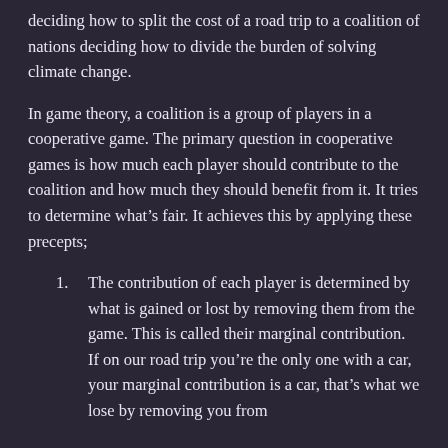deciding how to split the cost of a road trip to a coalition of nations deciding how to divide the burden of solving climate change.
In game theory, a coalition is a group of players in a cooperative game. The primary question in cooperative games is how much each player should contribute to the coalition and how much they should benefit from it. It tries to determine what’s fair. It achieves this by applying these precepts;
The contribution of each player is determined by what is gained or lost by removing them from the game. This is called their marginal contribution. If on our road trip you’re the only one with a car, your marginal contribution is a car, that’s what we lose by removing you from the coalition.